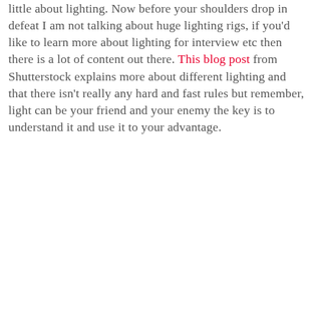little about lighting. Now before your shoulders drop in defeat I am not talking about huge lighting rigs, if you'd like to learn more about lighting for interview etc then there is a lot of content out there. This blog post from Shutterstock explains more about different lighting and that there isn't really any hard and fast rules but remember, light can be your friend and your enemy the key is to understand it and use it to your advantage.